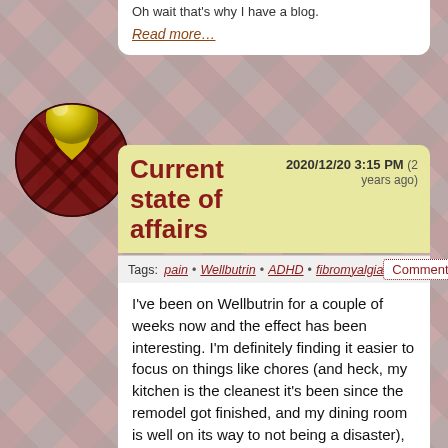Oh wait that's why I have a blog.
Read more…
Current state of affairs
2020/12/20 3:15 PM (2 years ago)
Tags: pain • Wellbutrin • ADHD • fibromyalgia
Comments
I've been on Wellbutrin for a couple of weeks now and the effect has been interesting. I'm definitely finding it easier to focus on things like chores (and heck, my kitchen is the cleanest it's been since the remodel got finished, and my dining room is well on its way to not being a disaster), but on the other hand it's disrupting my sleep a lot and I end up feeling tired throughout the day. My dreams have also been way more intense.
Right now I'm feeling sick with my usual winter sinus crap, so I'm a bit wobbly and a lot nauseous.